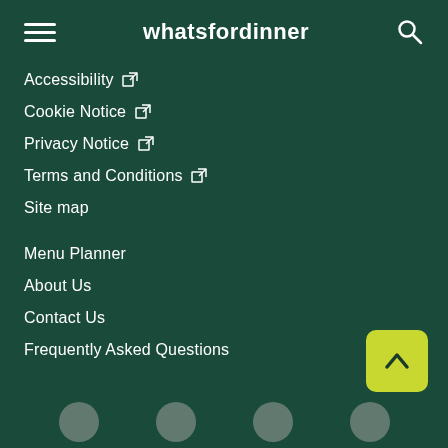whatsfordinner
Accessibility ↗
Cookie Notice ↗
Privacy Notice ↗
Terms and Conditions ↗
Site map
Menu Planner
About Us
Contact Us
Frequently Asked Questions
[Figure (other): Back to top button - yellow/green rounded square with upward chevron arrow]
Social media icons row at bottom